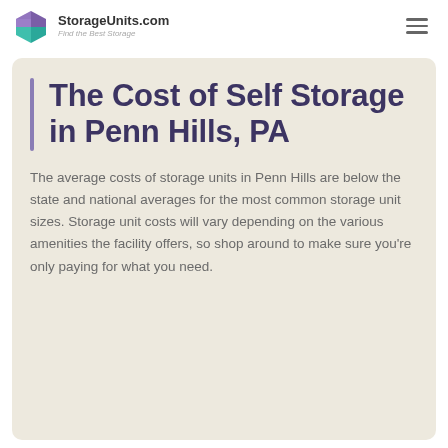StorageUnits.com — Find the Best Storage
The Cost of Self Storage in Penn Hills, PA
The average costs of storage units in Penn Hills are below the state and national averages for the most common storage unit sizes. Storage unit costs will vary depending on the various amenities the facility offers, so shop around to make sure you're only paying for what you need.